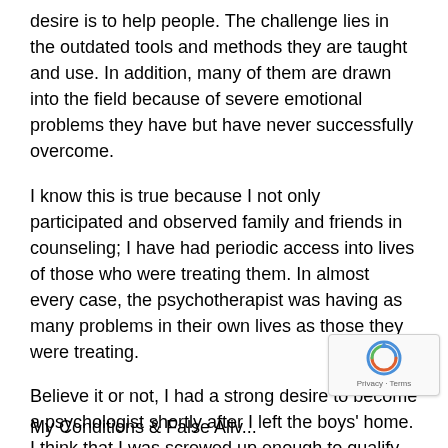desire is to help people. The challenge lies in the outdated tools and methods they are taught and use. In addition, many of them are drawn into the field because of severe emotional problems they have but have never successfully overcome.
I know this is true because I not only participated and observed family and friends in counseling; I have had periodic access into lives of those who were treating them. In almost every case, the psychotherapist was having as many problems in their own lives as those they were treating.
Believe it or not, I had a strong desire to become a psychologist shortly after I left the boys' home. I think that I was screwed up enough to qualify.  Just kid 😀
My Conditions & False Aliv...